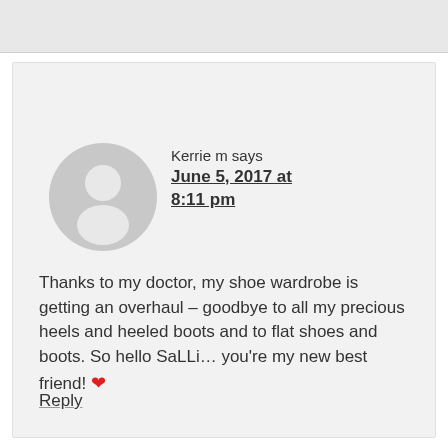[Figure (illustration): Gray default user avatar circle with silhouette icon]
Kerrie m says
June 5, 2017 at 8:11 pm
Thanks to my doctor, my shoe wardrobe is getting an overhaul – goodbye to all my precious heels and heeled boots and to flat shoes and boots. So hello SaLLi… you're my new best friend! ❤
Reply